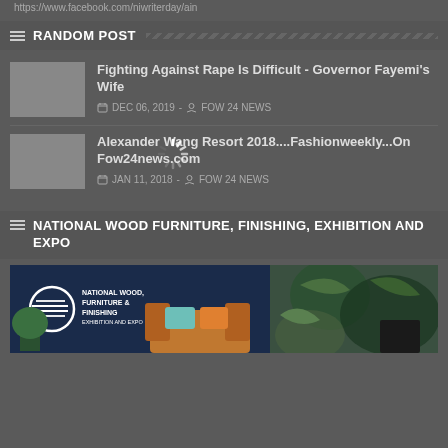https://www.facebook.com/niwriterday/ain
RANDOM POST
Fighting Against Rape Is Difficult - Governor Fayemi's Wife
DEC 06, 2019 - FOW 24 NEWS
Alexander Wang Resort2018....Fashionweekly...On Fow24news.com
JAN 11, 2018 - FOW 24 NEWS
NATIONAL WOOD FURNITURE, FINISHING, EXHIBITION AND EXPO
[Figure (photo): National Wood, Furniture & Finishing Exhibition and Expo promotional banner showing logo on dark blue background with furniture/couch imagery]